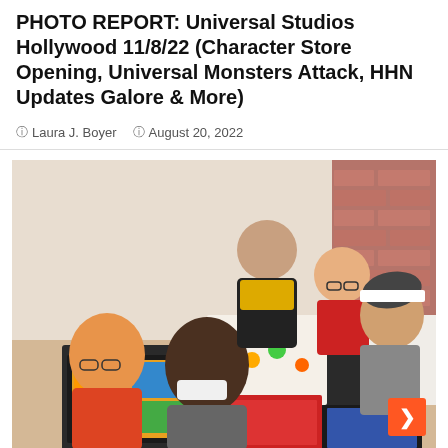PHOTO REPORT: Universal Studios Hollywood 11/8/22 (Character Store Opening, Universal Monsters Attack, HHN Updates Galore & More)
Laura J. Boyer   August 20, 2022
[Figure (photo): Children looking at trading cards and collectibles on a table inside what appears to be a store. A boy in a mask examines cards in a binder while other children and an adult look at boxes and card collections. A CARDGUARD branded box is visible on the table.]